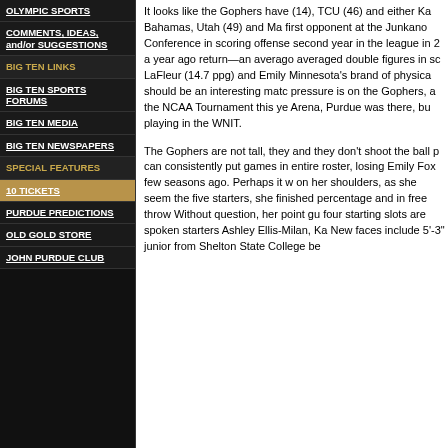OLYMPIC SPORTS
COMMENTS, IDEAS, and/or SUGGESTIONS
BIG TEN LINKS
BIG TEN SPORTS FORUMS
BIG TEN MEDIA
BIG TEN NEWSPAPERS
SPECIAL FEATURES
10 TICKETS
PURDUE PREDICTIONS
OLD GOLD STORE
JOHN PURDUE CLUB
It looks like the Gophers have (14), TCU (46) and either Ka Bahamas, Utah (49) and Ma first opponent at the Junkano Conference in scoring offense second year in the league in a year ago return—an avera averaged double figures in sc LaFleur (14.7 ppg) and Emily Minnesota's brand of physica should be an interesting matc pressure is on the Gophers, the NCAA Tournament this ye Arena, Purdue was there, bu playing in the WNIT.
The Gophers are not tall, the and they don't shoot the ball can consistently put games i entire roster, losing Emily Fo few seasons ago. Perhaps it on her shoulders, as she see the five starters, she finishe percentage and in free throw Without question, her point g four starting slots are spoken starters Ashley Ellis-Milan, Ka New faces include 5'-3" junior from Shelton State College b